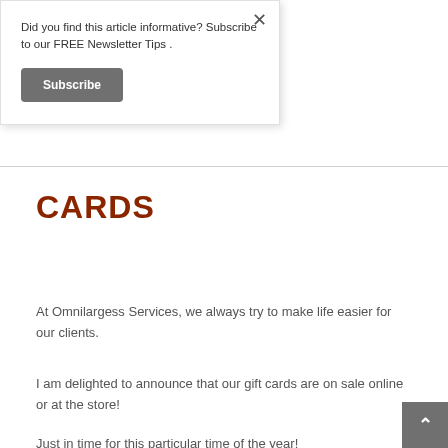Did you find this article informative? Subscribe to our FREE Newsletter Tips .
Subscribe
CARDS
At Omnilargess Services, we always try to make life easier for our clients.
I am delighted to announce that our gift cards are on sale online or at the store!
Just in time for this particular time of the year!